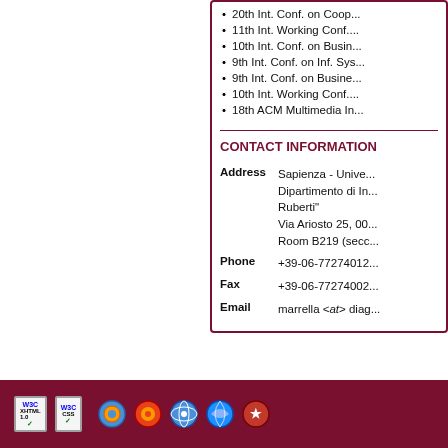20th Int. Conf. on Coop...
11th Int. Working Conf....
10th Int. Conf. on Busin...
9th Int. Conf. on Inf. Sys...
9th Int. Conf. on Busine...
10th Int. Working Conf....
18th ACM Multimedia In...
CONTACT INFORMATION
| Field | Value |
| --- | --- |
| Address | Sapienza - Unive...
Dipartimento di In...
Ruberti"
Via Ariosto 25, 00...
Room B219 (secc... |
| Phone | +39-06-77274012... |
| Fax | +39-06-77274002... |
| Email | marrella <at> diag... |
WSC XHTML 1.0 | WSC CSS | browser compatibility icons